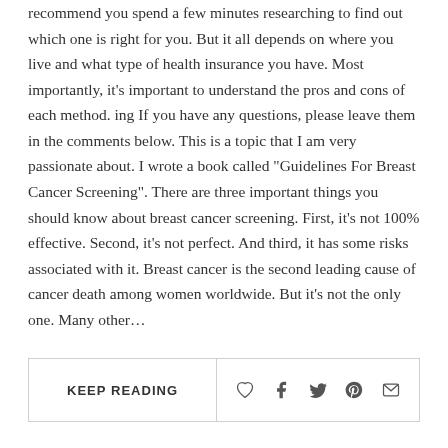recommend you spend a few minutes researching to find out which one is right for you. But it all depends on where you live and what type of health insurance you have. Most importantly, it's important to understand the pros and cons of each method. ing If you have any questions, please leave them in the comments below. This is a topic that I am very passionate about. I wrote a book called "Guidelines For Breast Cancer Screening". There are three important things you should know about breast cancer screening. First, it's not 100% effective. Second, it's not perfect. And third, it has some risks associated with it. Breast cancer is the second leading cause of cancer death among women worldwide. But it's not the only one. Many other…
KEEP READING